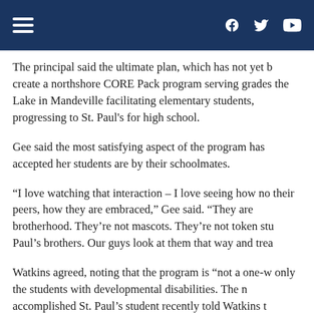Navigation header with hamburger menu and social icons (Facebook, Twitter, YouTube)
The principal said the ultimate plan, which has not yet b... create a northshore CORE Pack program serving grades... the Lake in Mandeville facilitating elementary students, ... progressing to St. Paul's for high school.
Gee said the most satisfying aspect of the program has ... accepted her students are by their schoolmates.
“I love watching that interaction – I love seeing how no... their peers, how they are embraced,” Gee said. “They are... brotherhood. They’re not mascots. They’re not token stu... Paul’s brothers. Our guys look at them that way and trea...
Watkins agreed, noting that the program is “not a one-w... only the students with developmental disabilities. The n... accomplished St. Paul’s student recently told Watkins t...